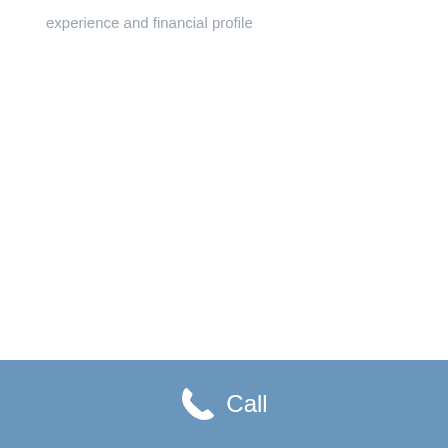experience and financial profile
[Figure (other): Phone/call button footer bar with a white telephone handset icon and the word 'Call' in white text on a steel blue background]